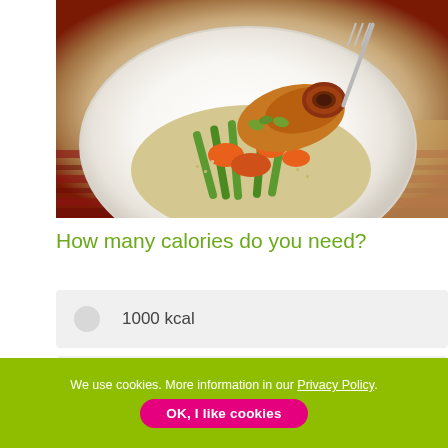[Figure (photo): A plated dish showing stuffed chicken roll with couscous, carrots, green beans and arugula on a white round plate, served on a red striped tablecloth with a fork visible]
How many calories do you need?
1000 kcal
1200 kcal
We use cookies. More information in our Privacy Policy.
OK, I like cookies